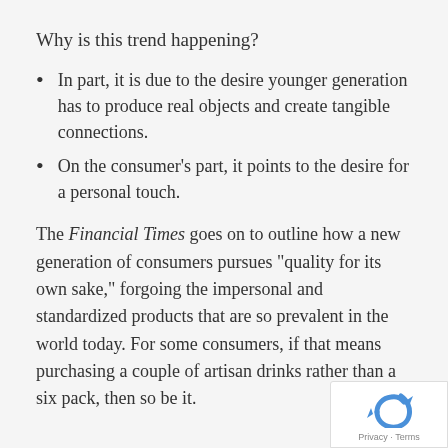Why is this trend happening?
In part, it is due to the desire younger generation has to produce real objects and create tangible connections.
On the consumer’s part, it points to the desire for a personal touch.
The Financial Times goes on to outline how a new generation of consumers pursues “quality for its own sake,” forgoing the impersonal and standardized products that are so prevalent in the world today. For some consumers, if that means purchasing a couple of artisan drinks rather than a six pack, then so be it.